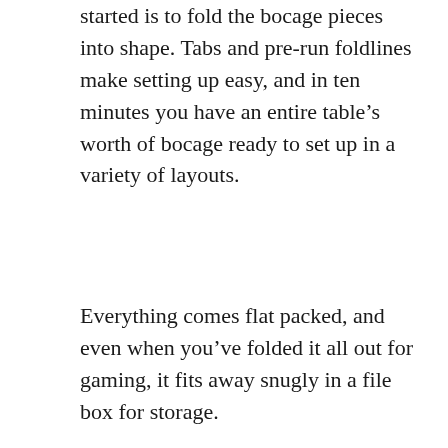started is to fold the bocage pieces into shape. Tabs and pre-run foldlines make setting up easy, and in ten minutes you have an entire table's worth of bocage ready to set up in a variety of layouts.
Everything comes flat packed, and even when you've folded it all out for gaming, it fits away snugly in a file box for storage.